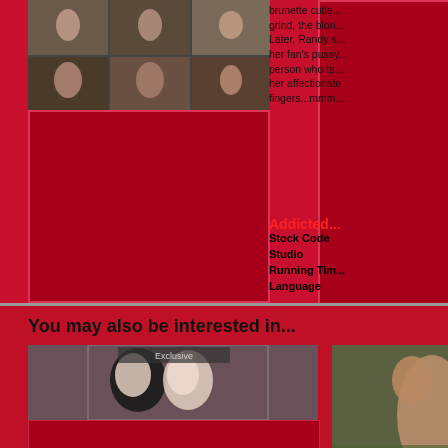[Figure (photo): Collage of multiple adult content thumbnail images in top-left]
[Figure (photo): Red placeholder box for second product image]
[Figure (photo): Red placeholder box for third product image]
brunette cutie... grind, the blon... Later, Randy s... her fan's pussy... person who ta... her affectionate fingers...mmm...
Addicted...
Stock Code
Studio
Running Time
Language
Product T...
DVDs
Les...
You may also be interested in...
[Figure (photo): Two women kissing photo with red box below]
[Figure (photo): Two women outdoors photo]
[Figure (photo): Red placeholder box]
[Figure (photo): Red placeholder box partially visible]